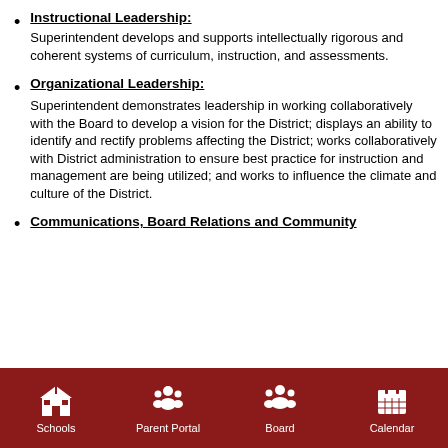Instructional Leadership: Superintendent develops and supports intellectually rigorous and coherent systems of curriculum, instruction, and assessments.
Organizational Leadership: Superintendent demonstrates leadership in working collaboratively with the Board to develop a vision for the District; displays an ability to identify and rectify problems affecting the District; works collaboratively with District administration to ensure best practice for instruction and management are being utilized; and works to influence the climate and culture of the District.
Communications, Board Relations and Community...
Schools | Parent Portal | Board | Calendar